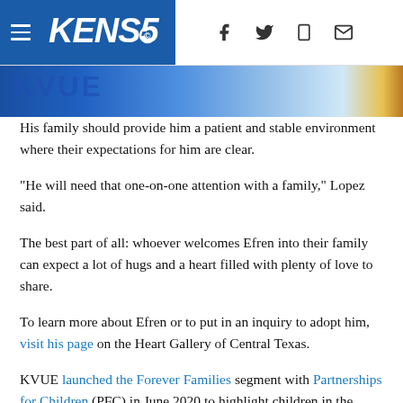KENS5
[Figure (photo): Partial view of a child or scene with colorful background, likely a child in a classroom or activity setting. The KVUE logo is partially visible.]
His family should provide him a patient and stable environment where their expectations for him are clear.
"He will need that one-on-one attention with a family," Lopez said.
The best part of all: whoever welcomes Efren into their family can expect a lot of hugs and a heart filled with plenty of love to share.
To learn more about Efren or to put in an inquiry to adopt him, visit his page on the Heart Gallery of Central Texas.
KVUE launched the Forever Families segment with Partnerships for Children (PFC) in June 2020 to highlight children in the Heart Gallery of Central Texas who need secure and permanent families. Every day, there are nearly 1,000 children waiting to get adopted in Central Texas.